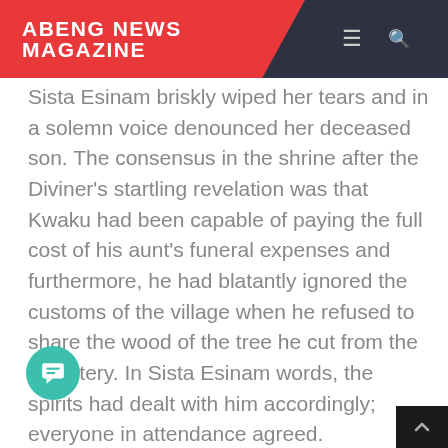ABENG NEWS MAGAZINE
Sista Esinam briskly wiped her tears and in a solemn voice denounced her deceased son. The consensus in the shrine after the Diviner's startling revelation was that Kwaku had been capable of paying the full cost of his aunt's funeral expenses and furthermore, he had blatantly ignored the customs of the village when he refused to share the wood of the tree he cut from the cemetery. In Sista Esinam words, the spirits had dealt with him accordingly; everyone in attendance agreed.